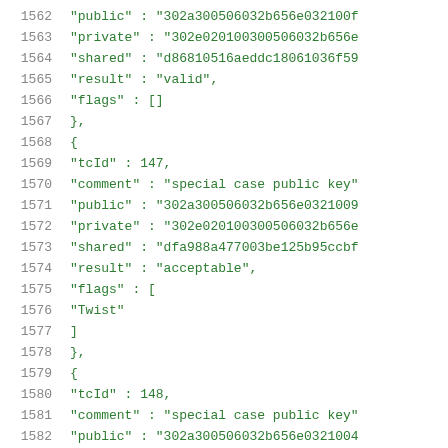Code listing lines 1562-1582 showing JSON test vector data with tcId, comment, public, private, shared, result, and flags fields